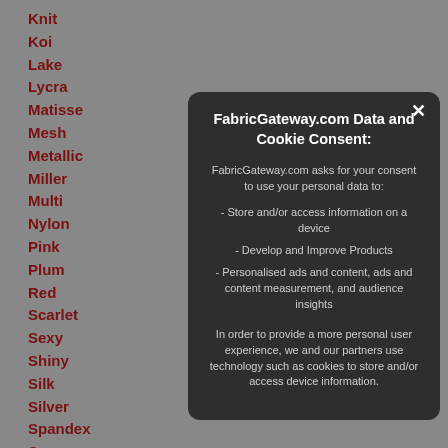Knit
Koi
Lake
Lycra
Matisse
Mesh
Metallic
Miller
Multi
Nylon
Pink
Plum
Red
Scarlet
Sexy
Shiny
Silk
Silver
Spandex
Square
Stretch
Tango
FabricGateway.com Data and Cookie Consent:
FabricGateway.com asks for your consent to use your personal data to:
- Store and/or access information on a device
- Develop and Improve Products
- Personalised ads and content, ads and content measurement, and audience insights
In order to provide a more personal user experience, we and our partners use technology such as cookies to store and/or access device information.